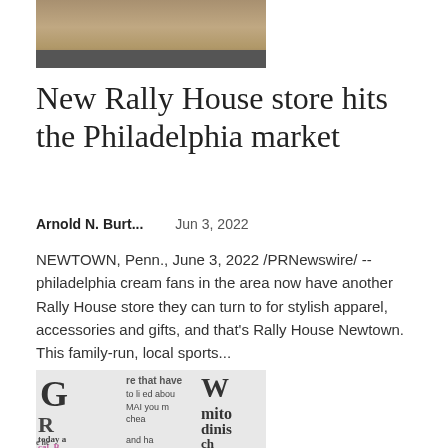[Figure (photo): Partial view of a Rally House storefront with plants/decor visible]
New Rally House store hits the Philadelphia market
Arnold N. Burt...    Jun 3, 2022
NEWTOWN, Penn., June 3, 2022 /PRNewswire/ -- philadelphia cream fans in the area now have another Rally House store they can turn to for stylish apparel, accessories and gifts, and that's Rally House Newtown. This family-run, local sports...
[Figure (photo): Close-up of stacked newspapers showing headlines and bold typography]